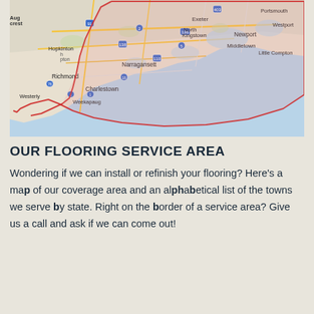[Figure (map): A Google Maps-style map showing the southern Rhode Island coastal area, including towns such as Richmond, Hopkinton, Charlestown, Weekapaug, Westerly, Exeter, North Kingstown, Narragansett, Middletown, Newport, Little Compton, Portsmouth, and Westport. A red border outlines the service coverage area.]
OUR FLOORING SERVICE AREA
Wondering if we can install or refinish your flooring? Here's a map of our coverage area and an alphabetical list of the towns we serve by state. Right on the border of a service area? Give us a call and ask if we can come out!